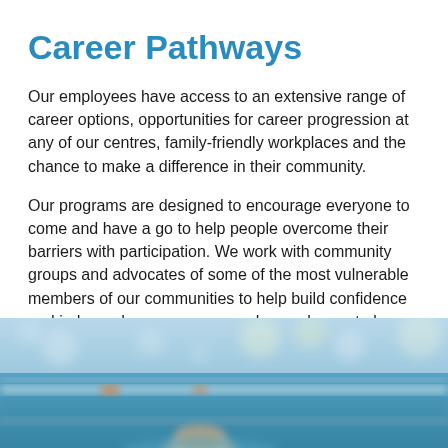Career Pathways
Our employees have access to an extensive range of career options, opportunities for career progression at any of our centres, family-friendly workplaces and the chance to make a difference in their community.
Our programs are designed to encourage everyone to come and have a go to help people overcome their barriers with participation. We work with community groups and advocates of some of the most vulnerable members of our communities to help build confidence and independence so everyone has a chance to be actively involved in life.
[Figure (photo): A blurred photograph of a swimming pool environment with lane ropes visible and a swimmer in the foreground, taken from poolside. Blue and white tones dominate with bokeh lighting effects in the background.]